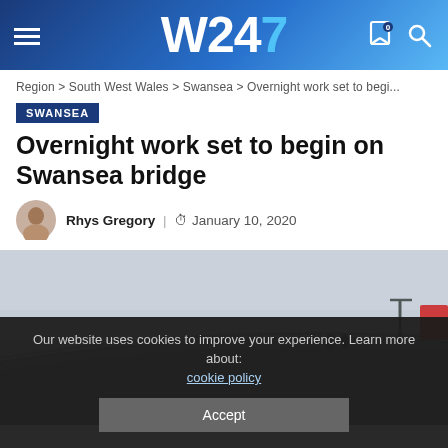W247
Region > South West Wales > Swansea > Overnight work set to begi...
SWANSEA
Overnight work set to begin on Swansea bridge
Rhys Gregory | January 10, 2020
[Figure (photo): A pedestrian bridge in Swansea with metal railings curving along its edge, grey sky in background.]
Our website uses cookies to improve your experience. Learn more about: cookie policy
Accept